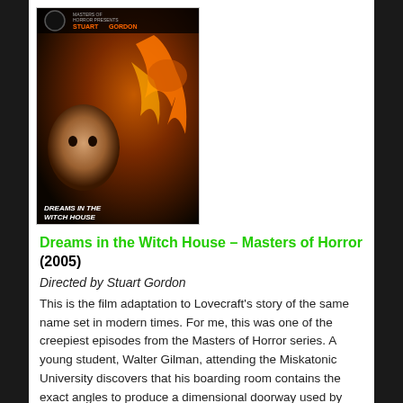[Figure (photo): Movie cover/DVD art for 'Dreams in the Witch House – Masters of Horror' (2005), directed by Stuart Gordon. Shows horror imagery with a face, orange flames, and text on a dark background.]
Dreams in the Witch House – Masters of Horror (2005)
Directed by Stuart Gordon
This is the film adaptation to Lovecraft's story of the same name set in modern times. For me, this was one of the creepiest episodes from the Masters of Horror series. A young student, Walter Gilman, attending the Miskatonic University discovers that his boarding room contains the exact angles to produce a dimensional doorway used by witches. A large rat frightens his young female neighbor, Frances. Gilman chases the rat away to save the young lady and her child but the rat comes back for him. The large rat is the witch's elemental, and has a human face. It calls to Gilman in his dreams but soon Gilman can not